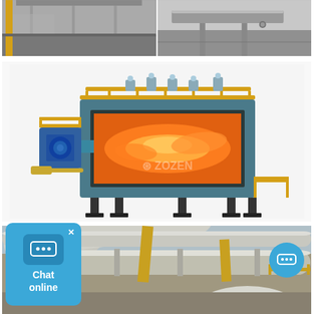[Figure (photo): Two industrial interior photos side by side: left shows a factory/warehouse interior with yellow column, right shows an industrial room with metal ductwork and equipment]
[Figure (illustration): 3D rendered illustration of an industrial gas-fired furnace/boiler unit (ZOZEN brand) with teal/dark green casing, yellow safety railings on top, blue burner unit on the left side, and orange flame visible through the front opening. The unit sits on dark metal legs.]
[Figure (photo): Industrial facility exterior/interior photo showing large silver/metallic pipes and pipeline infrastructure with yellow structural elements, taken from a low angle]